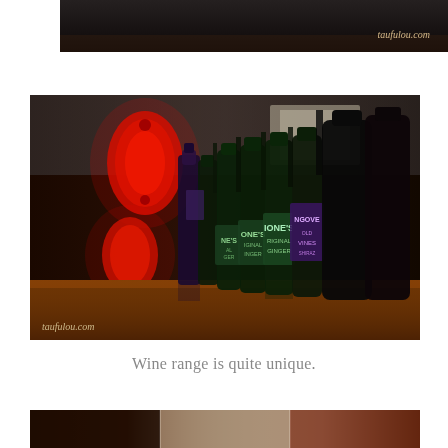[Figure (photo): Dark top photo strip showing interior scene with taufulou.com watermark in the corner]
[Figure (photo): Bar counter with multiple wine and ginger beer bottles lined up including Jones Original Ginger and Angove Old Vines bottles, red lantern lights in background, taufulou.com watermark in lower left]
Wine range is quite unique.
[Figure (photo): Partial bottom strip of another photo showing restaurant interior]